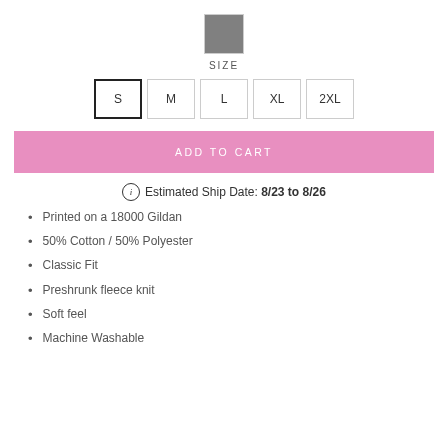[Figure (other): Gray color swatch square with light border]
SIZE
S  M  L  XL  2XL (size selector buttons, S selected)
ADD TO CART
Estimated Ship Date: 8/23 to 8/26
Printed on a 18000 Gildan
50% Cotton / 50% Polyester
Classic Fit
Preshrunk fleece knit
Soft feel
Machine Washable